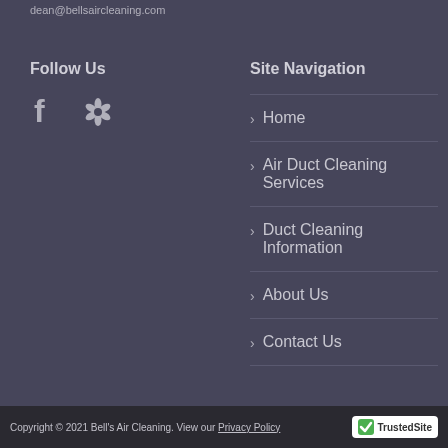dean@bellsaircleaning.com
Follow Us
[Figure (logo): Facebook and Yelp social media icons]
Site Navigation
Home
Air Duct Cleaning Services
Duct Cleaning Information
About Us
Contact Us
Copyright © 2021 Bell's Air Cleaning. View our Privacy Policy